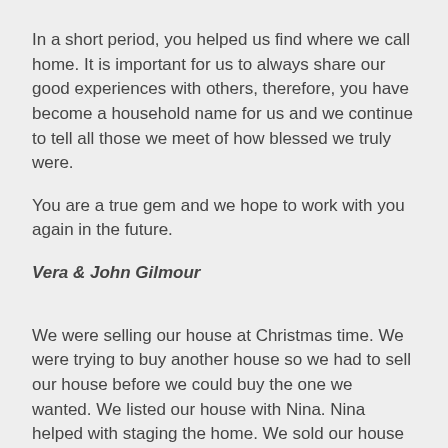In a short period, you helped us find where we call home. It is important for us to always share our good experiences with others, therefore, you have become a household name for us and we continue to tell all those we meet of how blessed we truly were.
You are a true gem and we hope to work with you again in the future.
Vera & John Gilmour
We were selling our house at Christmas time. We were trying to buy another house so we had to sell our house before we could buy the one we wanted. We listed our house with Nina. Nina helped with staging the home. We sold our house within 3 weeks. Nina was there when we needed her. She got the job done!